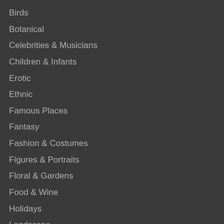Birds
Botanical
Celebrities & Musicians
Children & Infants
Erotic
Ethnic
Famous Places
Fantasy
Fashion & Costumes
Figures & Portraits
Floral & Gardens
Food & Wine
Holidays
Landscape
Maritime
Music & Instruments
Nudes
Religious & Inspirational
Seasons